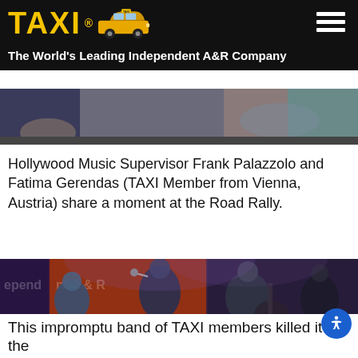TAXI® — The World's Leading Independent A&R Company
[Figure (photo): Partial cropped photo showing hands/arms of people at Road Rally event]
Hollywood Music Supervisor Frank Palazzolo and Fatima Gerendas (TAXI Member from Vienna, Austria) share a moment at the Road Rally.
[Figure (photo): Band of TAXI members performing on stage with drums, guitars, and vocalist at Road Rally event in front of TAXI Independent A&R banner]
This impromptu band of TAXI members killed it on the